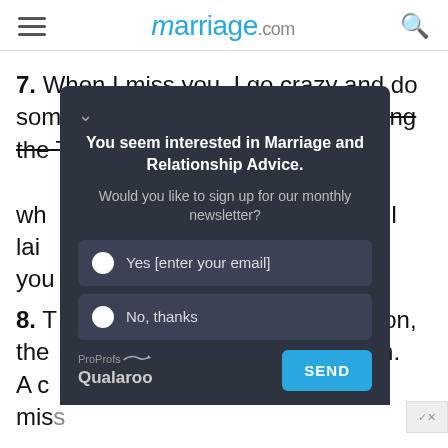marriage.com
7. When I miss you, I go crazy and do some pretty stupid things like drinking the TV while watching my [obscured] y bin wh[obscured] when I lai[obscured] thout you[obscured]
[Figure (screenshot): Newsletter signup popup overlay with dark background: 'You seem interested in Marriage and Relationship Advice. Would you like to sign up for our monthly newsletter?' with Yes [enter your email] and No, thanks radio options, ProProfs Qualaroo branding, and SEND button.]
8. T[obscured] ned on, the[obscured] omes in. A c[obscured] one. I mis[obscured]